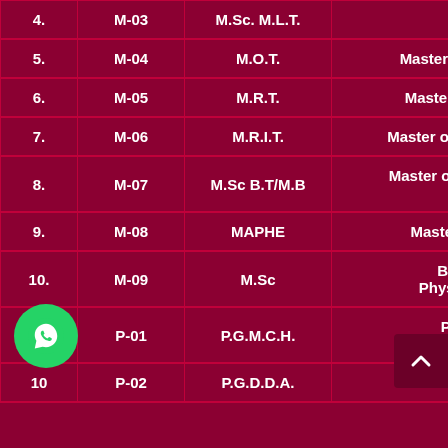| No. | Code | Abbreviation | Full Name (partial) |
| --- | --- | --- | --- |
| 4. | M-03 | M.Sc. M.L.T. | Tech |
| 5. | M-04 | M.O.T. | Master of Occu |
| 6. | M-05 | M.R.T. | Master of Radi |
| 7. | M-06 | M.R.I.T. | Master of Radio i |
| 8. | M-07 | M.Sc B.T/M.B | Master of Scienc /Micre |
| 9. | M-08 | MAPHE | Master in Phy |
| 10. | M-09 | M.Sc | Bio-Chem Physics/Che |
|  | P-01 | P.G.M.C.H. | P.G. oma hild |
| 10 | P-02 | P.G.D.D.A. | P.G. D |